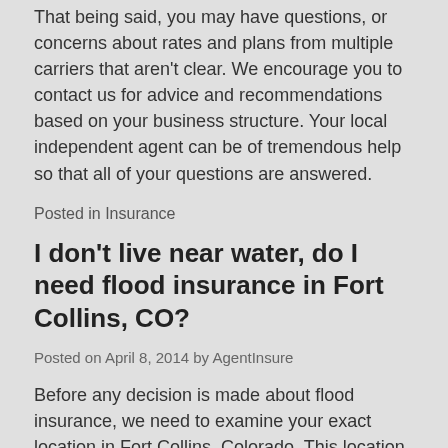That being said, you may have questions, or concerns about rates and plans from multiple carriers that aren't clear. We encourage you to contact us for advice and recommendations based on your business structure. Your local independent agent can be of tremendous help so that all of your questions are answered.
Posted in Insurance
I don't live near water, do I need flood insurance in Fort Collins, CO?
Posted on April 8, 2014 by AgentInsure
Before any decision is made about flood insurance, we need to examine your exact location in Fort Collins, Colorado. This location should be compared to flood zones since Fort Collin Utilities participates in the National Flood Insurance Fund.